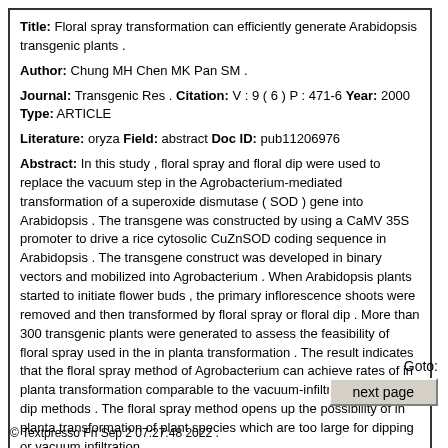Title: Floral spray transformation can efficiently generate Arabidopsis transgenic plants .
Author: Chung MH Chen MK Pan SM .
Journal: Transgenic Res . Citation: V : 9 ( 6 ) P : 471-6 Year: 2000 Type: ARTICLE
Literature: oryza Field: abstract Doc ID: pub11206976
Abstract: In this study , floral spray and floral dip were used to replace the vacuum step in the Agrobacterium-mediated transformation of a superoxide dismutase ( SOD ) gene into Arabidopsis . The transgene was constructed by using a CaMV 35S promoter to drive a rice cytosolic CuZnSOD coding sequence in Arabidopsis . The transgene construct was developed in binary vectors and mobilized into Agrobacterium . When Arabidopsis plants started to initiate flower buds , the primary inflorescence shoots were removed and then transformed by floral spray or floral dip . More than 300 transgenic plants were generated to assess the feasibility of floral spray used in the in planta transformation . The result indicates that the floral spray method of Agrobacterium can achieve rates of in planta transformation comparable to the vacuum-infiltration and floral dip methods . The floral spray method opens up the possibility of in planta transformation of plant species which are too large for dipping or vacuum infiltration .
Goto:
next page
© Textpresso Fri Sep 2 07:27:48 2022 .